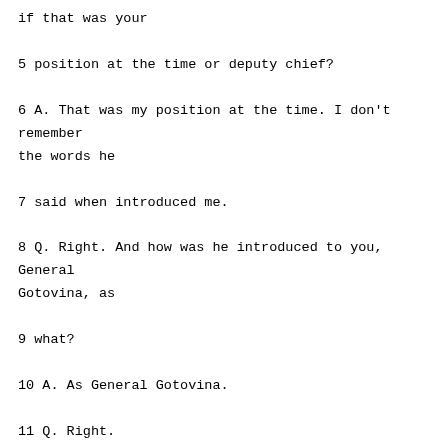if that was your
5 position at the time or deputy chief?
6 A. That was my position at the time. I don't remember the words he
7 said when introduced me.
8 Q. Right. And how was he introduced to you, General Gotovina, as
9 what?
10 A. As General Gotovina.
11 Q. Right.
12 A. Yeah.
13 Q. In any other form?
14 A. Not as far as I remember.
15 Q. And did you ever go to the zborna mjesta, headquarters, the
16 garrison command headquarters in Knin?
17 A. No, I did not.
18 Q. Do you know if that place was General Cermak's